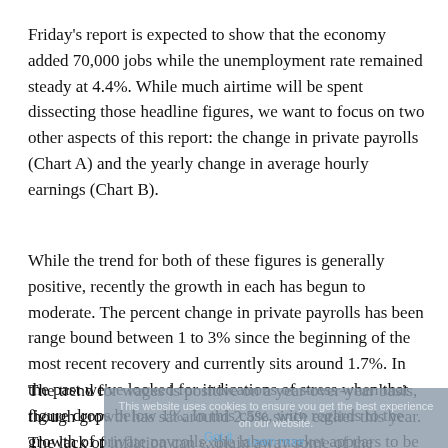Friday's report is expected to show that the economy added 70,000 jobs while the unemployment rate remained steady at 4.4%. While much airtime will be spent dissecting those headline figures, we want to focus on two other aspects of this report: the change in private payrolls (Chart A) and the yearly change in average hourly earnings (Chart B).
While the trend for both of these figures is generally positive, recently the growth in each has begun to moderate. The percent change in private payrolls has been range bound between 1 to 3% since the beginning of the most recent recovery and currently sits around 1.7%. In the past we've looked for indications of stress when that figure drops below 1%. In this case, with regards to the growth of private payrolls, the labor market appears to be on relatively solid ground.
The trend for wages is positive on a year-over-year basis, though growth has sat around 2.5% since earlier this year. The lack of inflation can explain away some of the stagnant wage growth. With